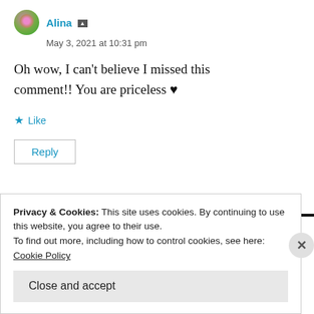Alina — May 3, 2021 at 10:31 pm
Oh wow, I can't believe I missed this comment!! You are priceless ♥
★ Like
Reply
Privacy & Cookies: This site uses cookies. By continuing to use this website, you agree to their use.
To find out more, including how to control cookies, see here:
Cookie Policy
Close and accept